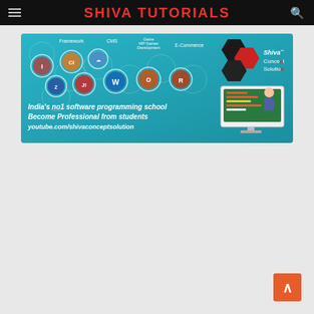SHIVA TUTORIALS
[Figure (illustration): Shiva Tutorials / Shiva Concept Solution banner ad on a teal/blue background. Shows technology logos in circles (Framework, CMS, Game/WP Commerce Development, E-Commerce categories), hexagonal logo with red and black hexagons for Shiva Concept Solution, a monitor/computer illustration with a programmer, and italic white text reading: India's no1 software programming school / Become Professional from students / youtube.com/shivaconceptsolution]